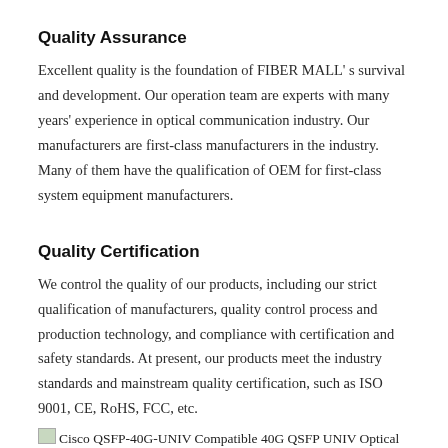Quality Assurance
Excellent quality is the foundation of FIBER MALL’ s survival and development. Our operation team are experts with many years’ experience in optical communication industry. Our manufacturers are first-class manufacturers in the industry. Many of them have the qualification of OEM for first-class system equipment manufacturers.
Quality Certification
We control the quality of our products, including our strict qualification of manufacturers, quality control process and production technology, and compliance with certification and safety standards. At present, our products meet the industry standards and mainstream quality certification, such as ISO 9001, CE, RoHS, FCC, etc.
Cisco QSFP-40G-UNIV Compatible 40G QSFP UNIV Optical Module